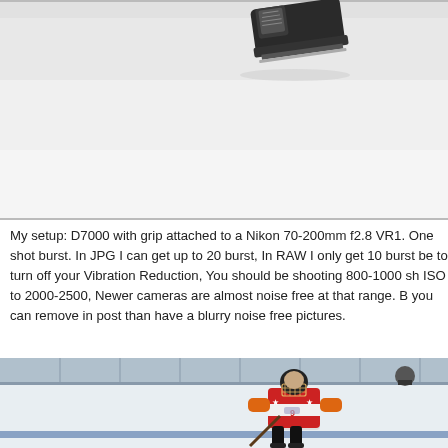[Figure (photo): Hockey skate(s) on ice rink surface, close-up shot showing dark skate boot against white/grey ice background]
My setup: D7000 with grip attached to a Nikon 70-200mm f2.8 VR1.  One shot burst.  In JPG I can get up to 20 burst, In RAW I only get 10 burst be to turn off your Vibration Reduction, You should be shooting 800-1000 sh ISO to 2000-2500, Newer cameras are almost noise free at that range.  B you can remove in post than have a blurry noise free pictures.
[Figure (photo): Ice hockey player wearing red, white and orange jersey with number 9, black helmet with cage, orange gloves, holding stick on ice rink]